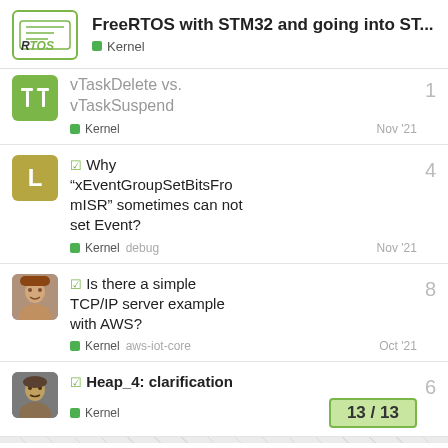FreeRTOS with STM32 and going into ST... Kernel
vTaskDelete vs. vTaskSuspend — Kernel — Nov '21 — 1 reply
Why "xEventGroupSetBitsFromISR" sometimes can not set Event? — Kernel debug — Nov '21 — 4 replies
Is there a simple TCP/IP server example with AWS? — Kernel aws-iot-core — Oct '21 — 8 replies
Heap_4: clarification — Kernel — 6 replies — 13 / 13